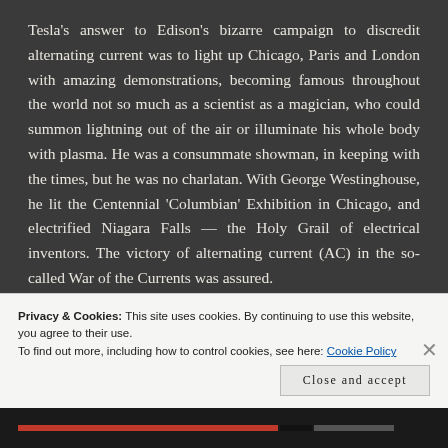Tesla's answer to Edison's bizarre campaign to discredit alternating current was to light up Chicago, Paris and London with amazing demonstrations, becoming famous throughout the world not so much as a scientist as a magician, who could summon lightning out of the air or illuminate his whole body with plasma. He was a consummate showman, in keeping with the times, but he was no charlatan. With George Westinghouse, he lit the Centennial 'Columbian' Exhibition in Chicago, and electrified Niagara Falls — the Holy Grail of electrical inventors. The victory of alternating current (AC) in the so-called War of the Currents was assured.
Privacy & Cookies: This site uses cookies. By continuing to use this website, you agree to their use.
To find out more, including how to control cookies, see here: Cookie Policy
Close and accept